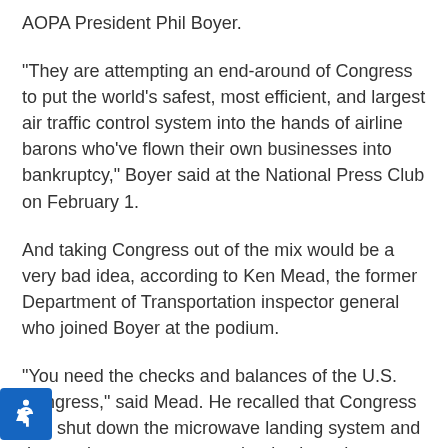AOPA President Phil Boyer.
"They are attempting an end-around of Congress to put the world's safest, most efficient, and largest air traffic control system into the hands of airline barons who've flown their own businesses into bankruptcy," Boyer said at the National Press Club on February 1.
And taking Congress out of the mix would be a very bad idea, according to Ken Mead, the former Department of Transportation inspector general who joined Boyer at the podium.
"You need the checks and balances of the U.S. Congress," said Mead. He recalled that Congress had shut down the microwave landing system and the previous attempt at modernization - the advanced automation system (AAS) - when it had spun out of control and gone well over budget.